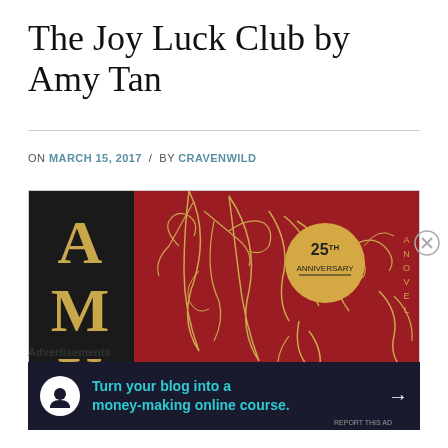The Joy Luck Club by Amy Tan
ON MARCH 15, 2017 / BY CRAVENWILD
[Figure (photo): Book cover of The Joy Luck Club 25th Anniversary Edition by Amy Tan. Black left panel with gold letters 'AMY', red background with gold botanical illustrations, circular '25th Anniversary' badge, and text 'A NOVEL' on the right. Bottom shows 'THE' text with white floral design.]
Advertisements
Turn your blog into a money-making online course.